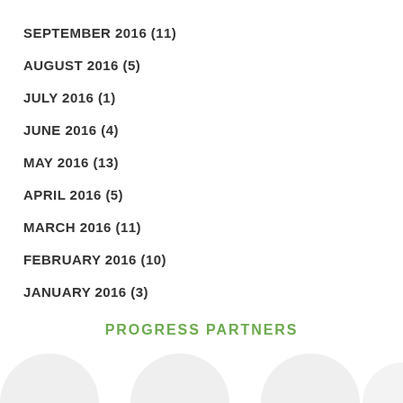SEPTEMBER 2016 (11)
AUGUST 2016 (5)
JULY 2016 (1)
JUNE 2016 (4)
MAY 2016 (13)
APRIL 2016 (5)
MARCH 2016 (11)
FEBRUARY 2016 (10)
JANUARY 2016 (3)
PROGRESS PARTNERS